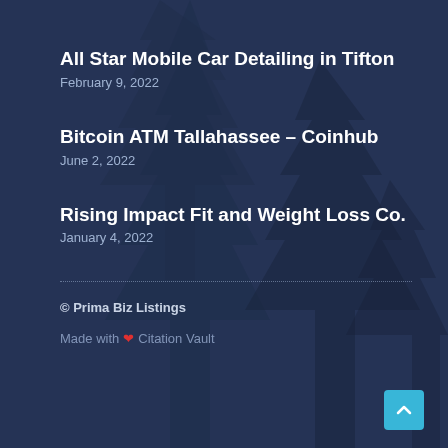All Star Mobile Car Detailing in Tifton
February 9, 2022
Bitcoin ATM Tallahassee – Coinhub
June 2, 2022
Rising Impact Fit and Weight Loss Co.
January 4, 2022
© Prima Biz Listings
Made with ❤ Citation Vault